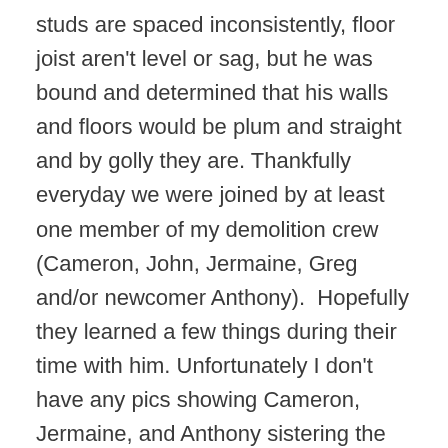studs are spaced inconsistently, floor joist aren't level or sag, but he was bound and determined that his walls and floors would be plum and straight and by golly they are. Thankfully everyday we were joined by at least one member of my demolition crew (Cameron, John, Jermaine, Greg and/or newcomer Anthony).  Hopefully they learned a few things during their time with him. Unfortunately I don't have any pics showing Cameron, Jermaine, and Anthony sistering the floor joist in the basement, but thank you Jonathon Scott and @PropertyBrothers. Originally we were going to remove all the compromised joist (which were true 2 bys)